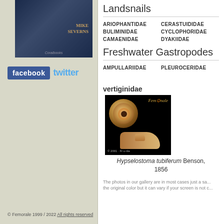[Figure (photo): Book cover with dark blue background, author name Mike Severns, published by Coralbooks]
[Figure (logo): Facebook and Twitter social media buttons]
Landsnails
ARIOPHANTIDAE   CERASTUIDIDAE
BULIMINIDAE   CYCLOPHORIDAE
CAMAENIDAE   DYAKIIDAE
Freshwater Gastropodes
AMPULLARIIDAE   PLEUROCERIDAE
vertiginidae
[Figure (photo): Photo of Hypselostoma tubiferum snail shells on black background with Femorale watermark]
Hypselostoma tubiferum Benson, 1856
The photos in our gallery are in most cases just a sample of the original color but it can vary if your screen is not c
© Femorale 1999 / 2022 All rights reserved